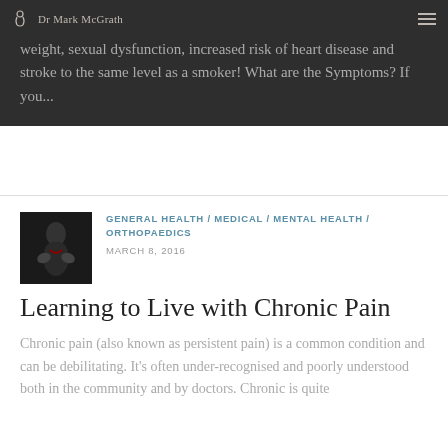Dr Mark McGrath
weight, sexual dysfunction, increased risk of heart disease and stroke to the same level as a smoker! What are the Symptoms? If you...
[Figure (photo): Thumbnail image of a person holding their lower back, suggesting back/chronic pain]
GENERAL HEALTH / MEDICAL / MENTAL HEALTH / ORTHOPAEDICS
MARCH 8, 2016
Learning to Live with Chronic Pain
Chronic pain (also known as persistent pain) is a common condition and can be debilitating. It's often under-recognised and poorly understood both in the community and by doctors. Chronic is quite